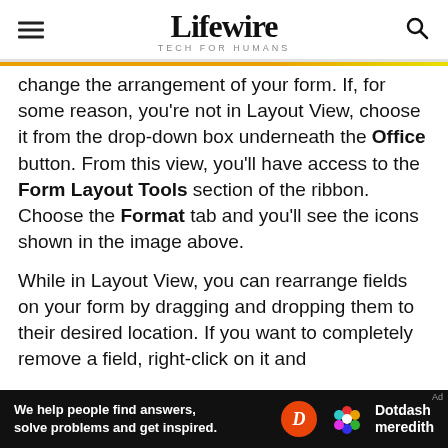Lifewire TECH FOR HUMANS
change the arrangement of your form. If, for some reason, you're not in Layout View, choose it from the drop-down box underneath the Office button. From this view, you'll have access to the Form Layout Tools section of the ribbon. Choose the Format tab and you'll see the icons shown in the image above.
While in Layout View, you can rearrange fields on your form by dragging and dropping them to their desired location. If you want to completely remove a field, right-click on it and
[Figure (other): Dotdash Meredith advertisement banner with text: We help people find answers, solve problems and get inspired.]